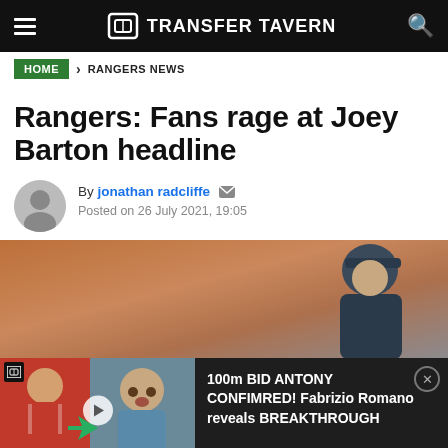TRANSFER TAVERN
HOME > RANGERS NEWS
Rangers: Fans rage at Joey Barton headline
By jonathan radcliffe  Posted on 26 July 2021, 19:05
[Figure (photo): Hero image of a man in a dark cap and jacket, blurred orange/brick background]
[Figure (screenshot): Ad overlay: Transfer Tavern video thumbnail showing football player in red kit, play button, green arrow, text '100M BID NEXT!' and 'ANTONY REFUSES TO PLAY'. Right side text: 100m BID ANTONY CONFIMRED! Fabrizio Romano reveals BREAKTHROUGH]